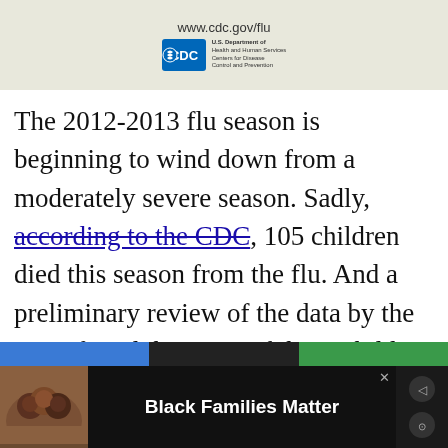[Figure (logo): CDC banner with www.cdc.gov/flu URL and CDC logo on beige background]
The 2012-2013 flu season is beginning to wind down from a moderately severe season. Sadly, according to the CDC, 105 children died this season from the flu. And a preliminary review of the data by the CDC found that 90% of those children who died were not vaccinated for this season's flu. In case that wasn't
[Figure (advertisement): Black Families Matter advertisement banner with photo of family at bottom of page]